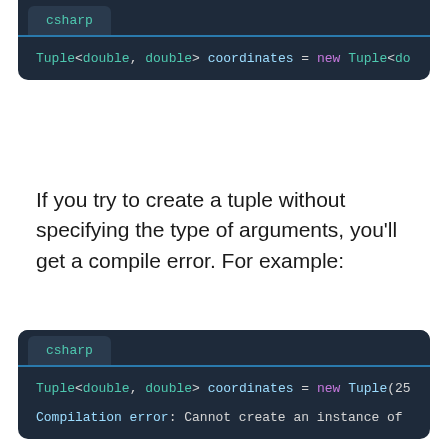[Figure (screenshot): Code block with csharp tab showing: Tuple<double, double> coordinates = new Tuple<do]
If you try to create a tuple without specifying the type of arguments, you'll get a compile error. For example:
[Figure (screenshot): Code block with csharp tab showing: Tuple<double, double> coordinates = new Tuple(25 and Compilation error: Cannot create an instance of]
Tuple.Create() vs new Tuple
C# has two methods for creating tuples: